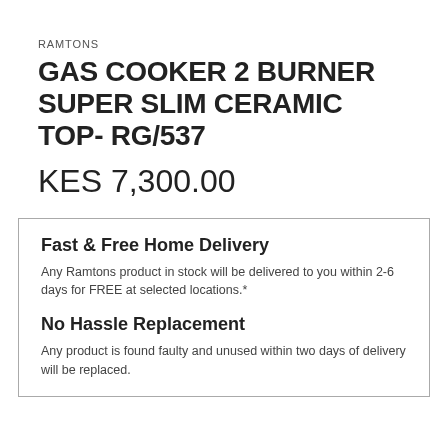RAMTONS
GAS COOKER 2 BURNER SUPER SLIM CERAMIC TOP- RG/537
KES 7,300.00
Fast & Free Home Delivery
Any Ramtons product in stock will be delivered to you within 2-6 days for FREE at selected locations.*
No Hassle Replacement
Any product is found faulty and unused within two days of delivery will be replaced.